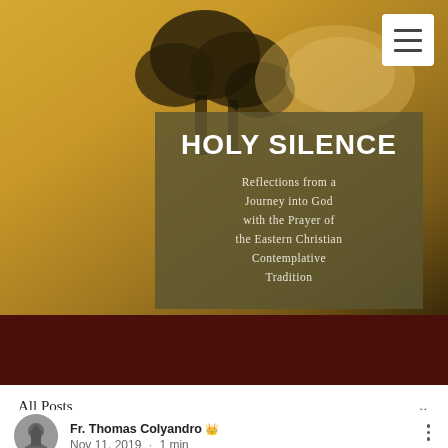[Figure (photo): Website header showing a sunset/golden sky with dark tree silhouettes, featuring a hamburger menu button in the top right corner, overlaid with a dark olive-colored box containing the book/blog title and subtitle]
HOLY SILENCE
Reflections from a Journey into God with the Prayer of the Eastern Christian Contemplative Tradition
[Figure (photo): Dark maroon/brown horizontal banner strip]
All Posts
Fr. Thomas Colyandro 👑
Nov 11, 2019 · 1 min